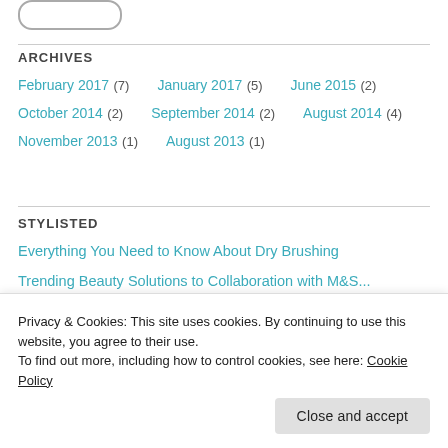[Figure (logo): Logo area with rounded rectangle button shape at the top left]
ARCHIVES
February 2017 (7)   January 2017 (5)   June 2015 (2)
October 2014 (2)   September 2014 (2)   August 2014 (4)
November 2013 (1)   August 2013 (1)
STYLISTED
Everything You Need to Know About Dry Brushing
Privacy & Cookies: This site uses cookies. By continuing to use this website, you agree to their use.
To find out more, including how to control cookies, see here: Cookie Policy
Close and accept